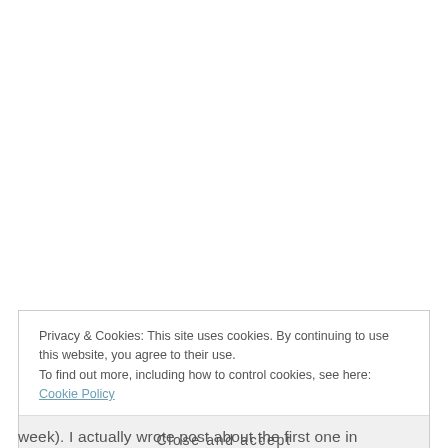Privacy & Cookies: This site uses cookies. By continuing to use this website, you agree to their use.
To find out more, including how to control cookies, see here: Cookie Policy
Close and accept
week). I actually wrote post about the first one in